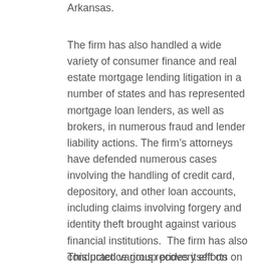Arkansas.
The firm has also handled a wide variety of consumer finance and real estate mortgage lending litigation in a number of states and has represented mortgage loan lenders, as well as brokers, in numerous fraud and lender liability actions. The firm’s attorneys have defended numerous cases involving the handling of credit card, depository, and other loan accounts, including claims involving forgery and identity theft brought against various financial institutions.  The firm has also conducted various recovery efforts on behalf of these institutions, including foreclosure and deficiency actions, and has defended wrongful collection and foreclosure actions.
This practice group prides itself on early